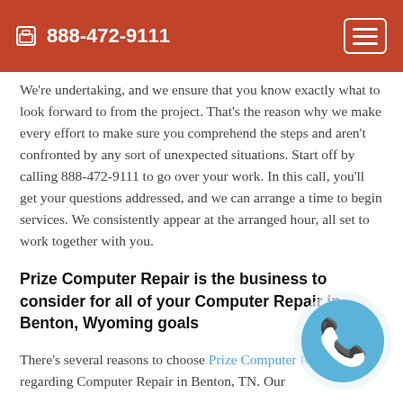888-472-9111
We're undertaking, and we ensure that you know exactly what to look forward to from the project. That's the reason why we make every effort to make sure you comprehend the steps and aren't confronted by any sort of unexpected situations. Start off by calling 888-472-9111 to go over your work. In this call, you'll get your questions addressed, and we can arrange a time to begin services. We consistently appear at the arranged hour, all set to work together with you.
Prize Computer Repair is the business to consider for all of your Computer Repair in Benton, Wyoming goals
There's several reasons to choose Prize Computer Repair regarding Computer Repair in Benton, TN. Our